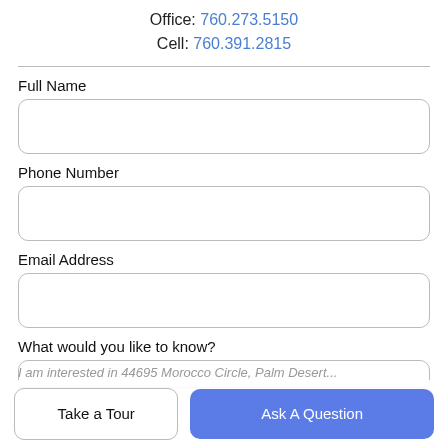Office: 760.273.5150
Cell: 760.391.2815
Full Name
Phone Number
Email Address
What would you like to know?
I am interested in 44695 Morocco Circle, Palm Desert...
Take a Tour
Ask A Question